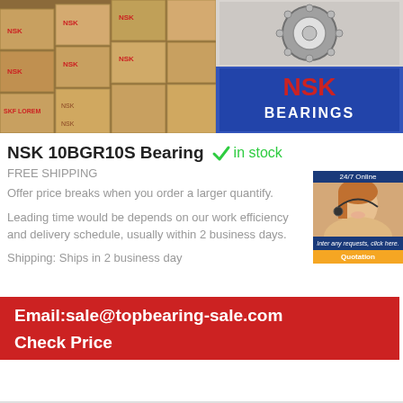[Figure (photo): NSK bearing boxes stacked in warehouse on the left, and NSK bearing product with NSK Bearings logo on the right]
NSK 10BGR10S Bearing
in stock
FREE SHIPPING
Offer price breaks when you order a larger quantify.
Leading time would be depends on our work efficiency and delivery schedule, usually within 2 business days.
Shipping: Ships in 2 business day
[Figure (photo): 24/7 Online customer service representative with headset, with text 'Inter any requests, click here.' and Quotation button]
Email:sale@topbearing-sale.com
Check Price